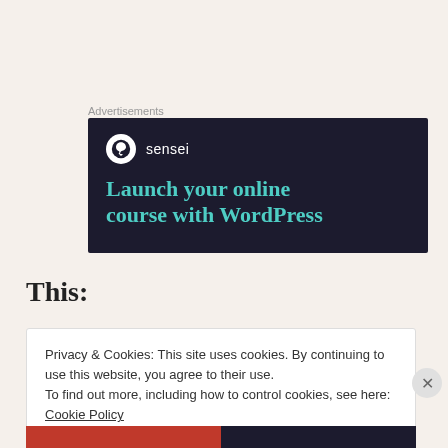Advertisements
[Figure (illustration): Sensei advertisement banner with dark navy background showing Sensei logo (tree icon in white circle) with brand name 'sensei', and large teal text reading 'Launch your online course with WordPress']
This:
Privacy & Cookies: This site uses cookies. By continuing to use this website, you agree to their use.
To find out more, including how to control cookies, see here: Cookie Policy
Close and accept